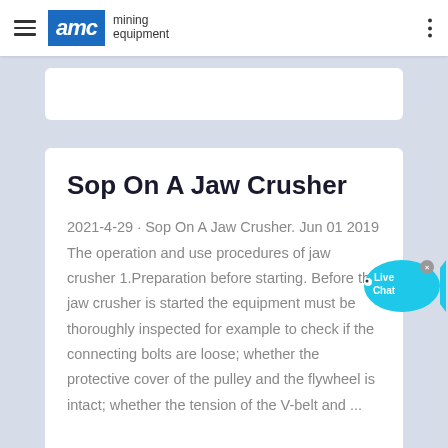AMC mining equipment
Sop On A Jaw Crusher
2021-4-29 · Sop On A Jaw Crusher. Jun 01 2019 The operation and use procedures of jaw crusher 1.Preparation before starting. Before the jaw crusher is started the equipment must be thoroughly inspected for example to check if the connecting bolts are loose; whether the protective cover of the pulley and the flywheel is intact; whether the tension of the V-belt and ...